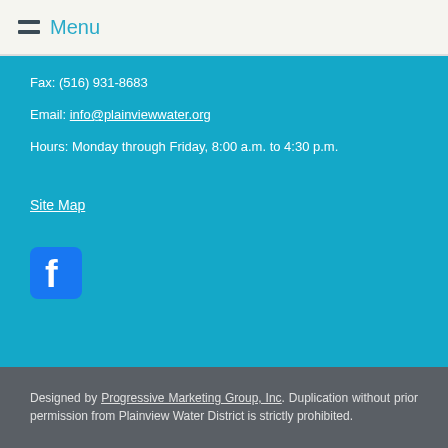Menu
Fax: (516) 931-8683
Email: info@plainviewwater.org
Hours: Monday through Friday, 8:00 a.m. to 4:30 p.m.
Site Map
[Figure (logo): Facebook logo icon, blue square with white 'f' letter]
Designed by Progressive Marketing Group, Inc. Duplication without prior permission from Plainview Water District is strictly prohibited.